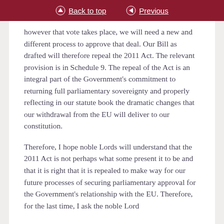Back to top | Previous
however that vote takes place, we will need a new and different process to approve that deal. Our Bill as drafted will therefore repeal the 2011 Act. The relevant provision is in Schedule 9. The repeal of the Act is an integral part of the Government's commitment to returning full parliamentary sovereignty and properly reflecting in our statute book the dramatic changes that our withdrawal from the EU will deliver to our constitution.
Therefore, I hope noble Lords will understand that the 2011 Act is not perhaps what some present it to be and that it is right that it is repealed to make way for our future processes of securing parliamentary approval for the Government's relationship with the EU. Therefore, for the last time, I ask the noble Lord